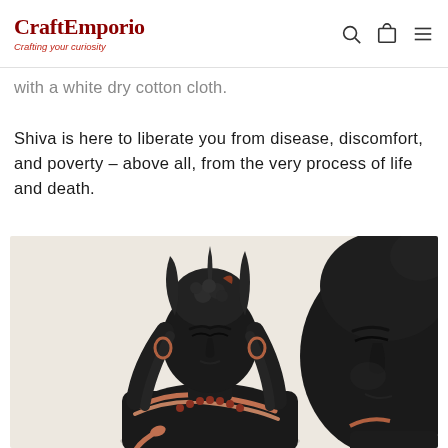CraftEmporio — Crafting your curiosity
with a white dry cotton cloth.
Shiva is here to liberate you from disease, discomfort, and poverty – above all, from the very process of life and death.
[Figure (photo): Two dark matte sculptures of Shiva (Adiyogi) bust figures with rose-gold snake and necklace details, against a cream background. The left figure shows the full bust, the right figure is a close-up of the face.]